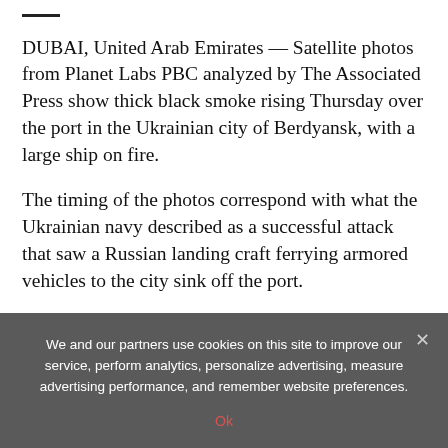DUBAI, United Arab Emirates — Satellite photos from Planet Labs PBC analyzed by The Associated Press show thick black smoke rising Thursday over the port in the Ukrainian city of Berdyansk, with a large ship on fire.
The timing of the photos correspond with what the Ukrainian navy described as a successful attack that saw a Russian landing craft ferrying armored vehicles to the city sink off the port.
The image also corresponds to online videos purportedly showing the attack at the port in the city held by Russia on the Sea of Azov.
We and our partners use cookies on this site to improve our service, perform analytics, personalize advertising, measure advertising performance, and remember website preferences.
Ok